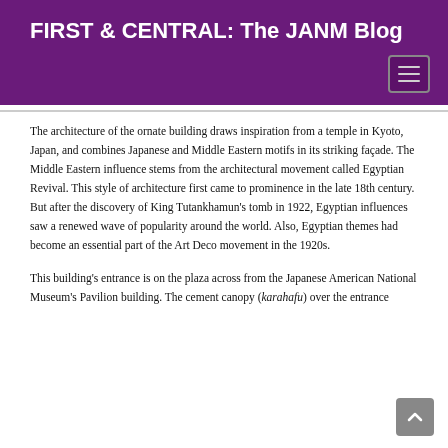FIRST & CENTRAL: The JANM Blog
The architecture of the ornate building draws inspiration from a temple in Kyoto, Japan, and combines Japanese and Middle Eastern motifs in its striking façade. The Middle Eastern influence stems from the architectural movement called Egyptian Revival. This style of architecture first came to prominence in the late 18th century. But after the discovery of King Tutankhamun's tomb in 1922, Egyptian influences saw a renewed wave of popularity around the world. Also, Egyptian themes had become an essential part of the Art Deco movement in the 1920s.
This building's entrance is on the plaza across from the Japanese American National Museum's Pavilion building. The cement canopy (karahafu) over the entrance